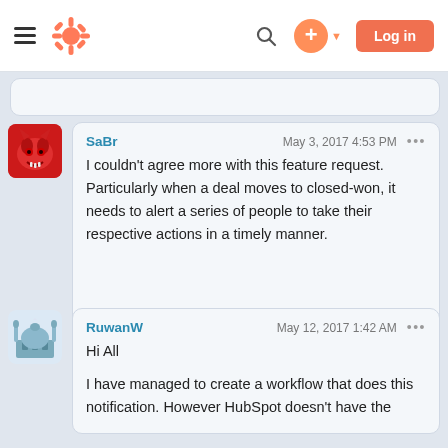[Figure (screenshot): HubSpot community website navigation bar with hamburger menu, HubSpot orange logo, search icon, plus button, and orange Log in button]
SaBr
May 3, 2017 4:53 PM
I couldn't agree more with this feature request. Particularly when a deal moves to closed-won, it needs to alert a series of people to take their respective actions in a timely manner.
RuwanW
May 12, 2017 1:42 AM
Hi All

I have managed to create a workflow that does this notification. However HubSpot doesn't have the